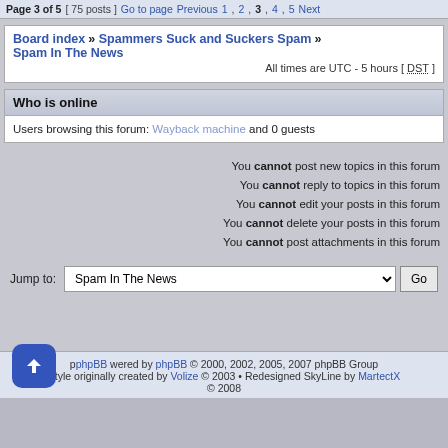Page 3 of 5  [ 75 posts ]  Go to page Previous  1, 2, 3, 4, 5  Next
Board index » Spammers Suck and Suckers Spam » Spam In The News
All times are UTC - 5 hours [ DST ]
Who is online
Users browsing this forum: Wayback machine and 0 guests
You cannot post new topics in this forum
You cannot reply to topics in this forum
You cannot edit your posts in this forum
You cannot delete your posts in this forum
You cannot post attachments in this forum
Jump to: Spam In The News  Go
Powered by phpBB © 2000, 2002, 2005, 2007 phpBB Group
Style originally created by Volize © 2003 • Redesigned SkyLine by MartectX © 2008